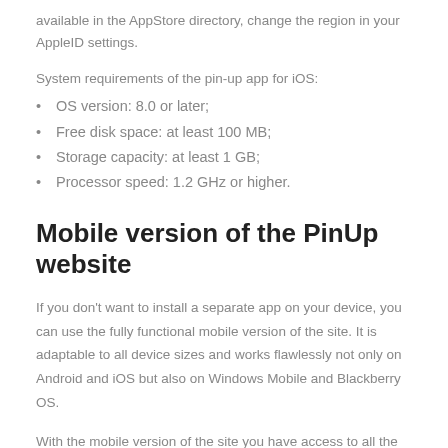available in the AppStore directory, change the region in your AppleID settings.
System requirements of the pin-up app for iOS:
OS version: 8.0 or later;
Free disk space: at least 100 MB;
Storage capacity: at least 1 GB;
Processor speed: 1.2 GHz or higher.
Mobile version of the PinUp website
If you don't want to install a separate app on your device, you can use the fully functional mobile version of the site. It is adaptable to all device sizes and works flawlessly not only on Android and iOS but also on Windows Mobile and Blackberry OS.
With the mobile version of the site you have access to all the features, promotions and bonuses of the online casino. In addition, you can ensure